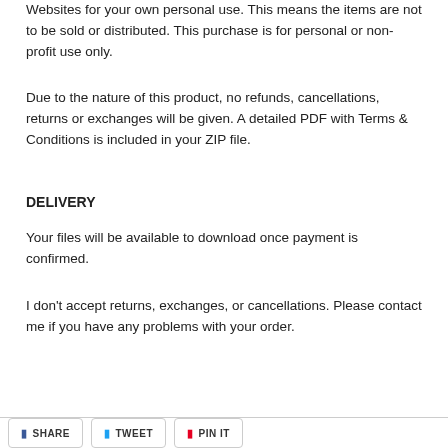Websites for your own personal use. This means the items are not to be sold or distributed. This purchase is for personal or non-profit use only.
Due to the nature of this product, no refunds, cancellations, returns or exchanges will be given. A detailed PDF with Terms & Conditions is included in your ZIP file.
DELIVERY
Your files will be available to download once payment is confirmed.
I don't accept returns, exchanges, or cancellations. Please contact me if you have any problems with your order.
SHARE   TWEET   PIN IT